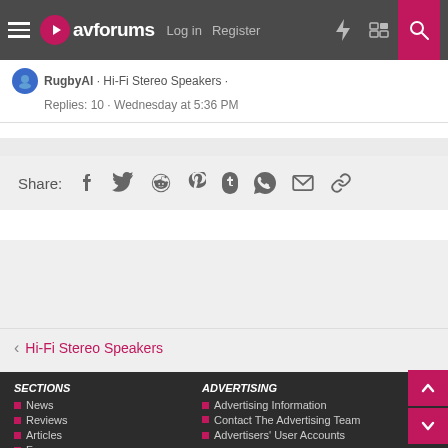avforums — Log in  Register
RugbyAl · Hi-Fi Stereo Speakers · Replies: 10 · Wednesday at 5:36 PM
Share: (icons: Facebook, Twitter, Reddit, Pinterest, Tumblr, WhatsApp, Email, Link)
< Hi-Fi Stereo Speakers
SECTIONS
News
Reviews
Articles
Forums
ADVERTISING
Advertising Information
Contact The Advertising Team
Advertisers' User Accounts